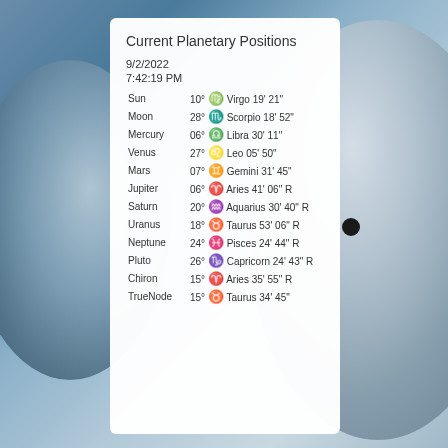Current Planetary Positions
9/2/2022
7:42:19 PM
| Planet | Position |
| --- | --- |
| Sun | 10° ♍ Virgo 19' 21" |
| Moon | 28° ♏ Scorpio 18' 52" |
| Mercury | 06° ♎ Libra 30' 11" |
| Venus | 27° ♌ Leo 05' 50" |
| Mars | 07° ♊ Gemini 31' 45" |
| Jupiter | 06° ♈ Aries 41' 06" R |
| Saturn | 20° ♒ Aquarius 30' 40" R |
| Uranus | 18° ♉ Taurus 53' 06" R |
| Neptune | 24° ♓ Pisces 24' 44" R |
| Pluto | 26° ♑ Capricorn 24' 43" R |
| Chiron | 15° ♈ Aries 35' 55" R |
| TrueNode | 15° ♉ Taurus 34' 45" |